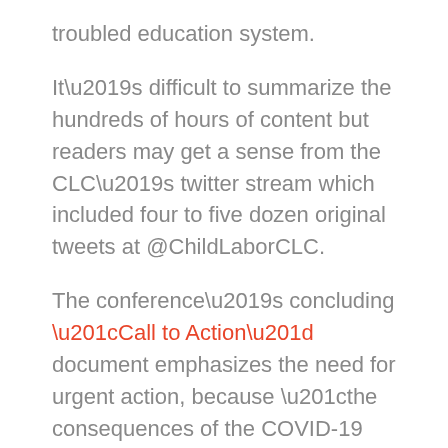troubled education system.
It’s difficult to summarize the hundreds of hours of content but readers may get a sense from the CLC’s twitter stream which included four to five dozen original tweets at @ChildLaborCLC.
The conference’s concluding “Call to Action” document emphasizes the need for urgent action, because “the consequences of the COVID-19 pandemic, armed conflicts, and food, humanitarian and environmental crises threaten to reverse years of progress against child labour”. The document includes commitments in six different areas: